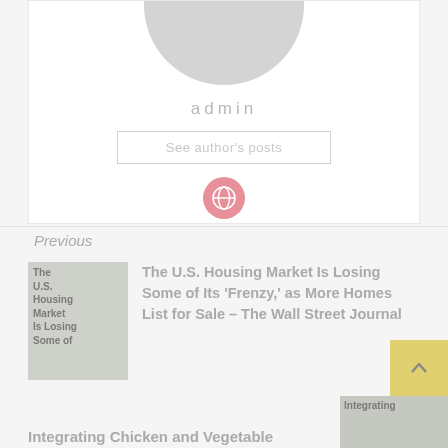[Figure (photo): Author avatar placeholder - gray rounded silhouette shape at top of author card]
admin
See author's posts
[Figure (illustration): Pink circular social media icon with globe/link symbol]
Previous
[Figure (photo): Thumbnail image for article: The U.S. Housing Market Is Losing Some of Its Frenzy article thumbnail]
The U.S. Housing Market Is Losing Some of Its 'Frenzy,' as More Homes List for Sale – The Wall Street Journal
[Figure (photo): Thumbnail for Integrating Chicken and Vegetable article]
Integrating Chicken and Vegetable